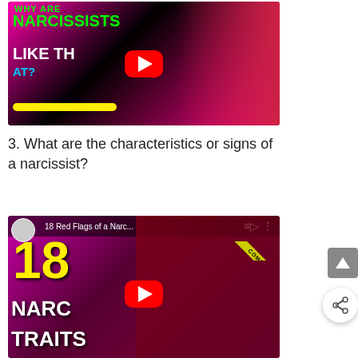[Figure (screenshot): YouTube video thumbnail showing a woman with blonde hair and glasses against a colorful background with text 'WHY ARE NARCISSISTS LIKE THAT?' in green and white bold lettering with a YouTube play button overlay]
3. What are the characteristics or signs of a narcissist?
[Figure (screenshot): YouTube video thumbnail titled '18 Red Flags of a Narc...' showing a woman with blonde hair and glasses, with text '18 NARC TRAITS' in large yellow and white bold lettering, YouTube play button overlay, and a 'COMPILATION' tag in the corner]